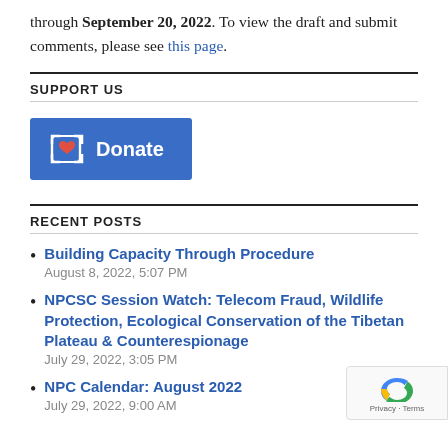through September 20, 2022. To view the draft and submit comments, please see this page.
SUPPORT US
[Figure (other): Blue donate button with heart icon and text 'Donate']
RECENT POSTS
Building Capacity Through Procedure
August 8, 2022, 5:07 PM
NPCSC Session Watch: Telecom Fraud, Wildlife Protection, Ecological Conservation of the Tibetan Plateau & Counterespionage
July 29, 2022, 3:05 PM
NPC Calendar: August 2022
July 29, 2022, 9:00 AM